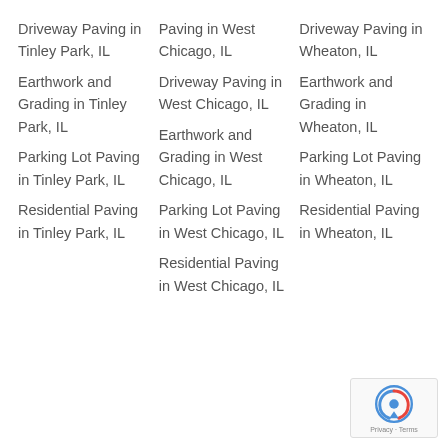Driveway Paving in Tinley Park, IL
Earthwork and Grading in Tinley Park, IL
Parking Lot Paving in Tinley Park, IL
Residential Paving in Tinley Park, IL
Paving in West Chicago, IL
Driveway Paving in West Chicago, IL
Earthwork and Grading in West Chicago, IL
Parking Lot Paving in West Chicago, IL
Residential Paving in West Chicago, IL
Driveway Paving in Wheaton, IL
Earthwork and Grading in Wheaton, IL
Parking Lot Paving in Wheaton, IL
Residential Paving in Wheaton, IL